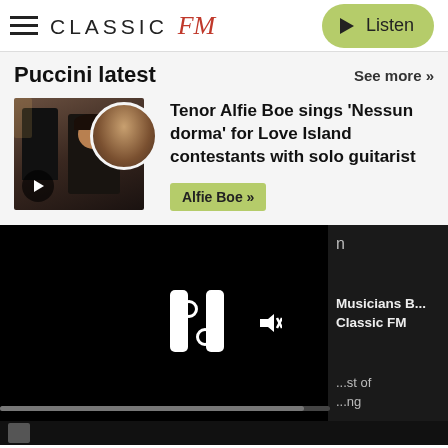[Figure (screenshot): Classic FM website header with hamburger menu, Classic FM logo, and green Listen button]
Puccini latest
See more »
[Figure (photo): Thumbnail image of Tenor Alfie Boe performing with play button overlay and circular portrait inset]
Tenor Alfie Boe sings 'Nessun dorma' for Love Island contestants with solo guitarist
Alfie Boe »
[Figure (screenshot): Video player area with pause icon, mute icon, progress bar, and partial sidebar showing Musicians B... Classic FM and ...st of ...ng text]
[Figure (photo): Partial bottom strip with dark background and small image thumbnail]